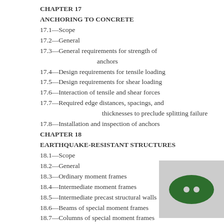CHAPTER 17
ANCHORING TO CONCRETE
17.1—Scope
17.2—General
17.3—General requirements for strength of anchors
17.4—Design requirements for tensile loading
17.5—Design requirements for shear loading
17.6—Interaction of tensile and shear forces
17.7—Required edge distances, spacings, and thicknesses to preclude splitting failure
17.8—Installation and inspection of anchors
CHAPTER 18
EARTHQUAKE-RESISTANT STRUCTURES
18.1—Scope
18.2—General
18.3—Ordinary moment frames
18.4—Intermediate moment frames
18.5—Intermediate precast structural walls
18.6—Beams of special moment frames
18.7—Columns of special moment frames
18.8—Joints of special moment frames
18.9—Special moment frames constructed using precast concrete